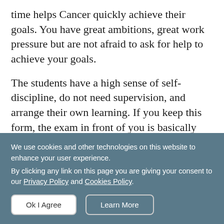time helps Cancer quickly achieve their goals. You have great ambitions, great work pressure but are not afraid to ask for help to achieve your goals.
The students have a high sense of self-discipline, do not need supervision, and arrange their own learning. If you keep this form, the exam in front of you is basically nothing to be difficult for you, and you will get a very good rank.
Little crabs are aware of how important it is to them
We use cookies and other technologies on this website to enhance your user experience.
By clicking any link on this page you are giving your consent to our Privacy Policy and Cookies Policy.